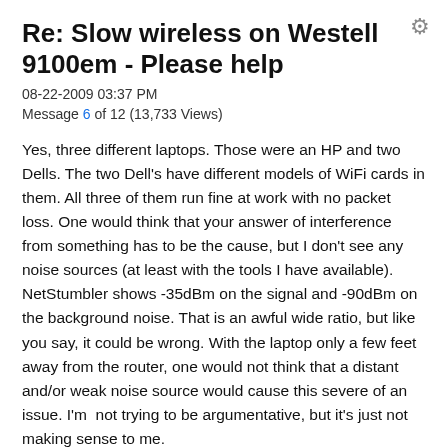Re: Slow wireless on Westell 9100em - Please help
08-22-2009 03:37 PM
Message 6 of 12 (13,733 Views)
Yes, three different laptops. Those were an HP and two Dells. The two Dell's have different models of WiFi cards in them. All three of them run fine at work with no packet loss. One would think that your answer of interference from something has to be the cause, but I don't see any noise sources (at least with the tools I have available). NetStumbler shows -35dBm on the signal and -90dBm on the background noise. That is an awful wide ratio, but like you say, it could be wrong. With the laptop only a few feet away from the router, one would not think that a distant and/or weak noise source would cause this severe of an issue. I'm  not trying to be argumentative, but it's just not making sense to me.